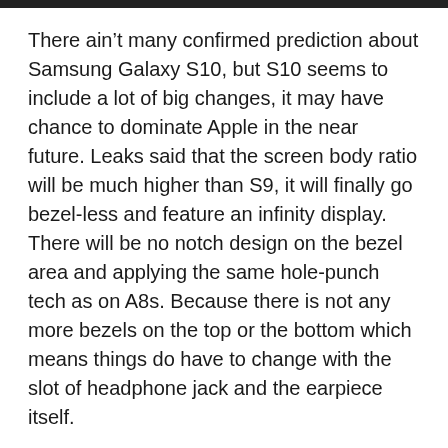There ain't many confirmed prediction about Samsung Galaxy S10, but S10 seems to include a lot of big changes, it may have chance to dominate Apple in the near future. Leaks said that the screen body ratio will be much higher than S9, it will finally go bezel-less and feature an infinity display. There will be no notch design on the bezel area and applying the same hole-punch tech as on A8s. Because there is not any more bezels on the top or the bottom which means things do have to change with the slot of headphone jack and the earpiece itself.
However, it has been 3 years since Apple released the jack-less iPhone 7, which kicked off the industry trend. The technology of wireless audio